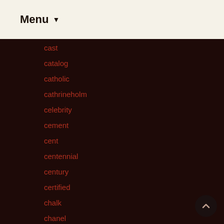Menu ▼
cast
catalog
catholic
cathrineholm
celebrity
cement
cent
centennial
century
certified
chalk
chanel
charles